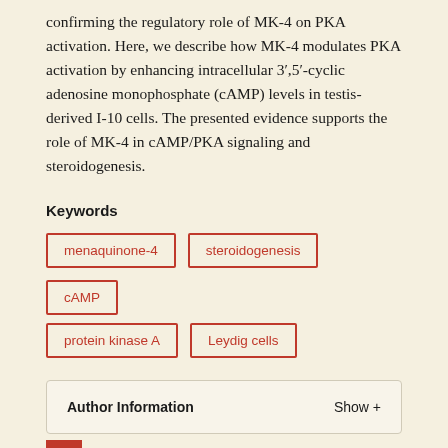confirming the regulatory role of MK-4 on PKA activation. Here, we describe how MK-4 modulates PKA activation by enhancing intracellular 3′,5′-cyclic adenosine monophosphate (cAMP) levels in testis-derived I-10 cells. The presented evidence supports the role of MK-4 in cAMP/PKA signaling and steroidogenesis.
Keywords
menaquinone-4
steroidogenesis
cAMP
protein kinase A
Leydig cells
Author Information    Show +